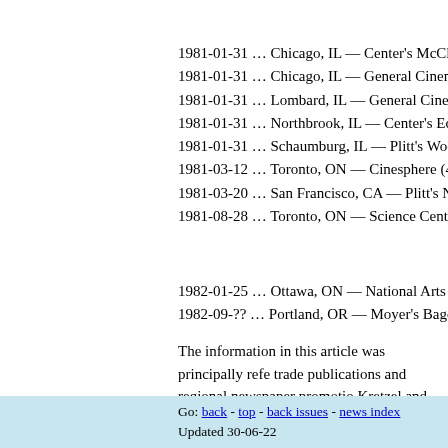1981-01-31 … Chicago, IL — Center's McClurg Co
1981-01-31 … Chicago, IL — General Cinema's Fo
1981-01-31 … Lombard, IL — General Cinema's Y
1981-01-31 … Northbrook, IL — Center's Edens Tv
1981-01-31 … Schaumburg, IL — Plitt's Woodfield
1981-03-12 … Toronto, ON — Cinesphere (4 days)
1981-03-20 … San Francisco, CA — Plitt's Northpo
1981-08-28 … Toronto, ON — Science Centre/Onta
1982-01-25 … Ottawa, ON — National Arts Centre
1982-09-?? … Portland, OR — Moyer's Bagdad Tri
The information in this article was principally refe trade publications and regional newspaper promotio Kretzel and Tim O'Neill.
Additional 70mm prints were screened internationall accounted for in this article.
If you believe this article contains any errors or omi emailing the author or editor.
Go: back - top - back issues - news index
Updated 30-06-22